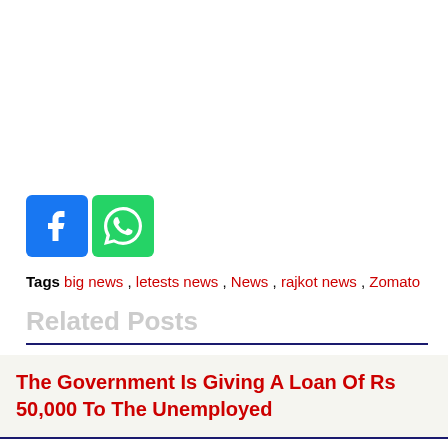[Figure (other): Social share icons: Facebook (blue) and WhatsApp (green)]
Tags big news , letests news , News , rajkot news , Zomato
Related Posts
The Government Is Giving A Loan Of Rs 50,000 To The Unemployed
Union Bank Of India Recruitment 2021